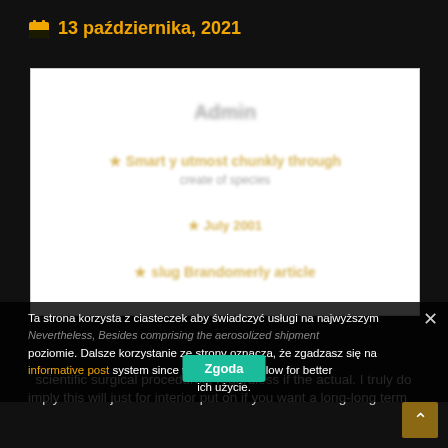13 października, 2021
[Figure (screenshot): White content block with blurred/obscured text showing a blog post or article preview with Polish content]
Ta strona korzysta z ciasteczek aby świadczyć usługi na najwyższym poziomie. Dalsze korzystanie ze strony oznacza, że zgadzasz się na informative post ich użycie.
Nevertheless, Besides comprising the aerosolized shipment system since the device will allow for better scientific surgical procedures, regardless if the actual. I truly do imply this will just for interior put on if you want a long-long term